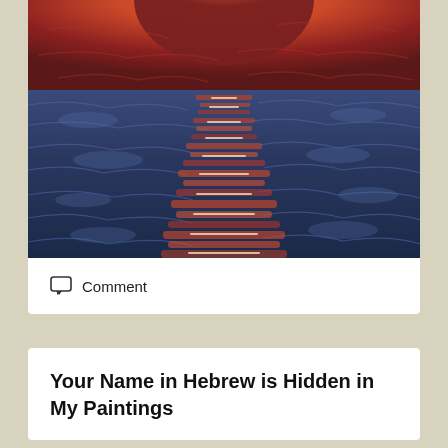[Figure (illustration): A painting depicting a sunset or sunrise over water, with vibrant orange and red hues at the top blending into deep blue tones below. A central column of warm orange-red and white brushstrokes reflects on the blue textured water surface, creating a path of light effect.]
Comment
Your Name in Hebrew is Hidden in My Paintings